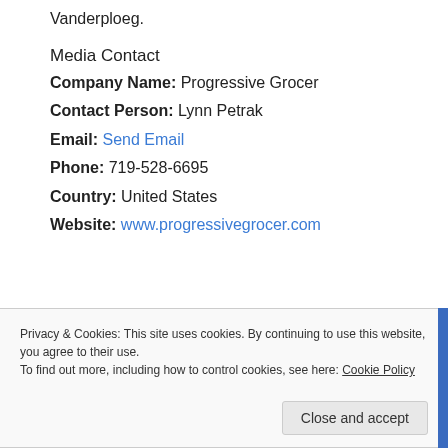Vanderploeg.
Media Contact
Company Name: Progressive Grocer
Contact Person: Lynn Petrak
Email: Send Email
Phone: 719-528-6695
Country: United States
Website: www.progressivegrocer.com
Privacy & Cookies: This site uses cookies. By continuing to use this website, you agree to their use. To find out more, including how to control cookies, see here: Cookie Policy